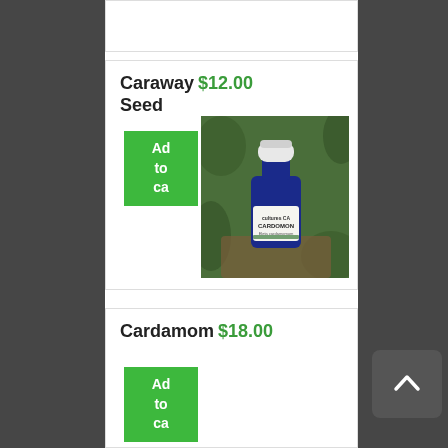Caraway Seed $12.00
Add to ca[rt]
[Figure (photo): Blue glass essential oil bottle with white cap labeled CARDOMON on a natural background]
Cardamom $18.00
Add to ca[rt]